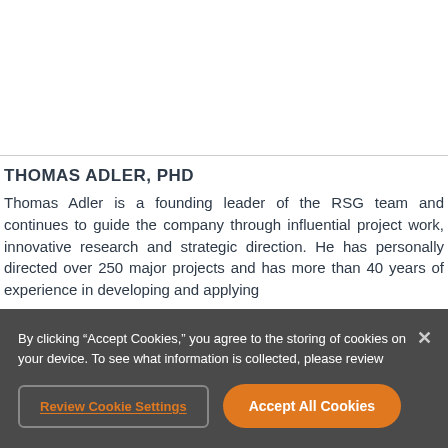THOMAS ADLER, PHD
Thomas Adler is a founding leader of the RSG team and continues to guide the company through influential project work, innovative research and strategic direction. He has personally directed over 250 major projects and has more than 40 years of experience in developing and applying
By clicking “Accept Cookies,” you agree to the storing of cookies on your device. To see what information is collected, please review
Review Cookie Settings
Accept All Cookies